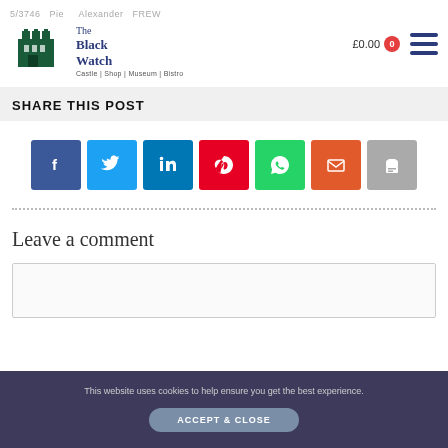5/3746 · Pie · Alexander · FREW · The Black Watch Castle | Shop | Museum | Bistro
SHARE THIS POST
[Figure (infographic): 7 social share buttons: Facebook (dark blue), Twitter (light blue), LinkedIn (blue), Pinterest (red), WhatsApp (green), Email (orange-red), Print (grey)]
Leave a comment
This website uses cookies to help ensure you get the best experience.
ACCEPT & CLOSE